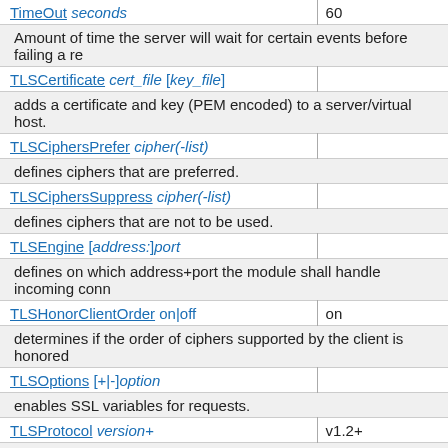| Directive | Default |
| --- | --- |
| TimeOut seconds | 60 |
| Amount of time the server will wait for certain events before failing a re |  |
| TLSCertificate cert_file [key_file] |  |
| adds a certificate and key (PEM encoded) to a server/virtual host. |  |
| TLSCiphersPrefer cipher(-list) |  |
| defines ciphers that are preferred. |  |
| TLSCiphersSuppress cipher(-list) |  |
| defines ciphers that are not to be used. |  |
| TLSEngine [address:]port |  |
| defines on which address+port the module shall handle incoming conn |  |
| TLSHonorClientOrder on|off | on |
| determines if the order of ciphers supported by the client is honored |  |
| TLSOptions [+|-]option |  |
| enables SSL variables for requests. |  |
| TLSProtocol version+ | v1.2+ |
| specifies the minimum version of the TLS protocol to use. |  |
| TLSProxyCA file.pem |  |
| sets the root certificates to validate the backend server with. |  |
| TLSProxyCiphersPrefer cipher(-list) |  |
| defines ciphers that are preferred for a proxy connection. |  |
| TLSProxyCiphersSuppress cipher(-list) |  |
| defines ciphers that are not to be used for a proxy connection. |  |